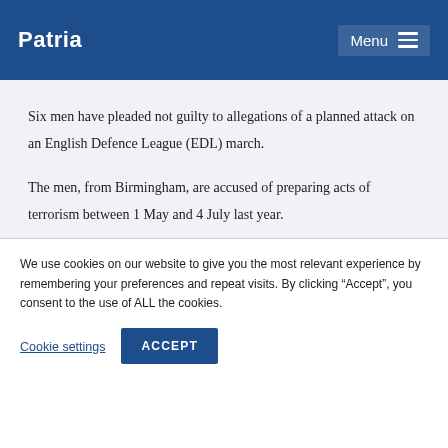Patria | Menu
Six men have pleaded not guilty to allegations of a planned attack on an English Defence League (EDL) march.
The men, from Birmingham, are accused of preparing acts of terrorism between 1 May and 4 July last year.
We use cookies on our website to give you the most relevant experience by remembering your preferences and repeat visits. By clicking “Accept”, you consent to the use of ALL the cookies.
Cookie settings
ACCEPT